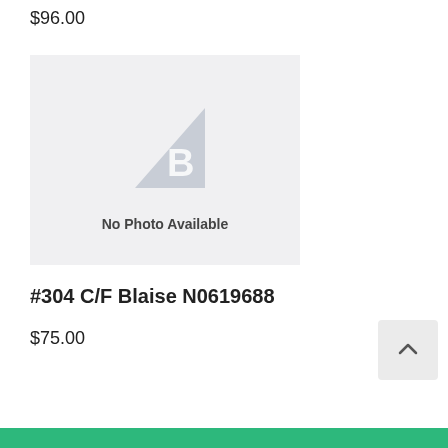$96.00
[Figure (illustration): No Photo Available placeholder image with a grey triangle and stylized B logo]
#304 C/F Blaise N0619688
$75.00